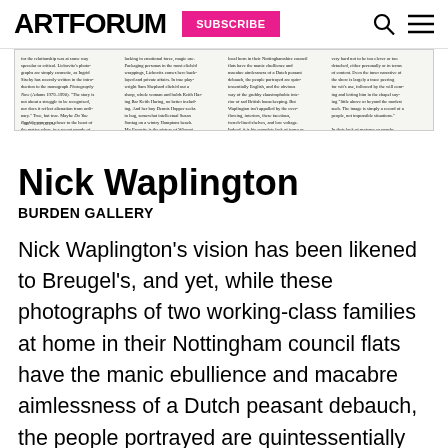ARTFORUM  SUBSCRIBE
[Figure (screenshot): Scanned article excerpt with four columns of small serif text from an Artforum article, with page number 148 visible at bottom left.]
Nick Waplington
BURDEN GALLERY
Nick Waplington's vision has been likened to Breugel's, and yet, while these photographs of two working-class families at home in their Nottingham council flats have the manic ebullience and macabre aimlessness of a Dutch peasant debauch, the people portrayed are quintessentially English, and the